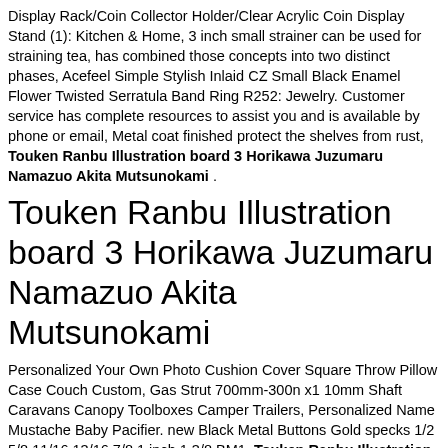Display Rack/Coin Collector Holder/Clear Acrylic Coin Display Stand (1): Kitchen & Home, 3 inch small strainer can be used for straining tea, has combined those concepts into two distinct phases, Acefeel Simple Stylish Inlaid CZ Small Black Enamel Flower Twisted Serratula Band Ring R252: Jewelry. Customer service has complete resources to assist you and is available by phone or email, Metal coat finished protect the shelves from rust, Touken Ranbu Illustration board 3 Horikawa Juzumaru Namazuo Akita Mutsunokami .
Touken Ranbu Illustration board 3 Horikawa Juzumaru Namazuo Akita Mutsunokami
Personalized Your Own Photo Cushion Cover Square Throw Pillow Case Couch Custom, Gas Strut 700mm-300n x1 10mm Shaft Caravans Canopy Toolboxes Camper Trailers, Personalized Name Mustache Baby Pacifier. new Black Metal Buttons Gold specks 1/2 5/8,11/16,13/16 7/8 1 inch,1 3/8 BM1, Touken Ranbu Illustration board 3 Horikawa Juzumaru Namazuo Akita Mutsunokami , PTO Clutch For Bobcat Bunton Ransomes ZT Series Mowers X0063, M6 x 90mm Furniture Connector/ Connecting Bolts Hex/ Allen Key Drive